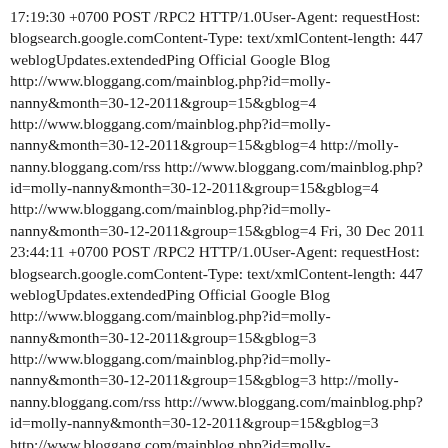17:19:30 +0700 POST /RPC2 HTTP/1.0User-Agent: requestHost: blogsearch.google.comContent-Type: text/xmlContent-length: 447 weblogUpdates.extendedPing Official Google Blog http://www.bloggang.com/mainblog.php?id=molly-nanny&month=30-12-2011&group=15&gblog=4 http://www.bloggang.com/mainblog.php?id=molly-nanny&month=30-12-2011&group=15&gblog=4 http://molly-nanny.bloggang.com/rss http://www.bloggang.com/mainblog.php?id=molly-nanny&month=30-12-2011&group=15&gblog=4 http://www.bloggang.com/mainblog.php?id=molly-nanny&month=30-12-2011&group=15&gblog=4 Fri, 30 Dec 2011 23:44:11 +0700 POST /RPC2 HTTP/1.0User-Agent: requestHost: blogsearch.google.comContent-Type: text/xmlContent-length: 447 weblogUpdates.extendedPing Official Google Blog http://www.bloggang.com/mainblog.php?id=molly-nanny&month=30-12-2011&group=15&gblog=3 http://www.bloggang.com/mainblog.php?id=molly-nanny&month=30-12-2011&group=15&gblog=3 http://molly-nanny.bloggang.com/rss http://www.bloggang.com/mainblog.php?id=molly-nanny&month=30-12-2011&group=15&gblog=3 http://www.bloggang.com/mainblog.php?id=molly-nanny&month=30-12-2011&group=15&gblog=3 Fri, 30 Dec 2011 23:26:53 +0700 POST /RPC2 HTTP/1.0User-Agent: requestHost: blogsearch.google.comContent-Type: text/xmlContent-length: 447 weblogUpdates.extendedPing Official Google Blog